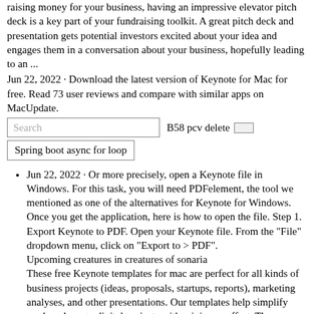raising money for your business, having an impressive elevator pitch deck is a key part of your fundraising toolkit. A great pitch deck and presentation gets potential investors excited about your idea and engages them in a conversation about your business, hopefully leading to an ...
Jun 22, 2022 · Download the latest version of Keynote for Mac for free. Read 73 user reviews and compare with similar apps on MacUpdate.
Search | B58 pcv delete □
Spring boot async for loop
Jun 22, 2022 · Or more precisely, open a Keynote file in Windows. For this task, you will need PDFelement, the tool we mentioned as one of the alternatives for Keynote for Windows. Once you get the application, here is how to open the file. Step 1. Export Keynote to PDF. Open your Keynote file. From the "File" dropdown menu, click on "Export to > PDF".
Upcoming creatures in creatures of sonaria
These free Keynote templates for mac are perfect for all kinds of business projects (ideas, proposals, startups, reports), marketing analyses, and other presentations. Our templates help simplify work and create digital projects with minimum effort. These are useful working tools for busy users who want to perform efficiently.
Crain drill for sale ebay